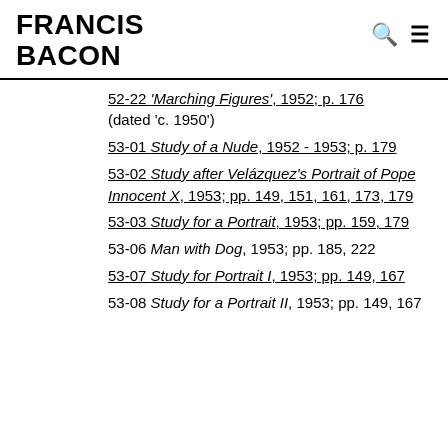FRANCIS BACON
52-22 'Marching Figures', 1952; p. 176 (dated 'c. 1950')
53-01 Study of a Nude, 1952 - 1953; p. 179
53-02 Study after Velázquez's Portrait of Pope Innocent X, 1953; pp. 149, 151, 161, 173, 179
53-03 Study for a Portrait, 1953; pp. 159, 179
53-06 Man with Dog, 1953; pp. 185, 222
53-07 Study for Portrait I, 1953; pp. 149, 167
53-08 Study for a Portrait II, 1953; pp. 149, 167